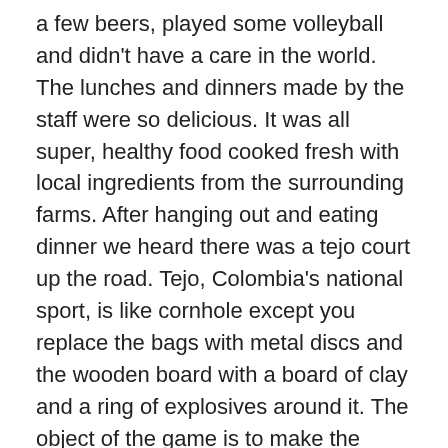a few beers, played some volleyball and didn't have a care in the world. The lunches and dinners made by the staff were so delicious. It was all super, healthy food cooked fresh with local ingredients from the surrounding farms. After hanging out and eating dinner we heard there was a tejo court up the road. Tejo, Colombia's national sport, is like cornhole except you replace the bags with metal discs and the wooden board with a board of clay and a ring of explosives around it. The object of the game is to make the explosives go off on your throw. Some local farmers up the road built their own court to make a bit more money. Usually it is free to pay as long as you buy beers, so that is what we did. We decided to play us gringos versus the locals. It was so fun as their entire family came out to play and even the little kids had their own mini court to the side. We ended up losing pretty badly (shocking) but had a